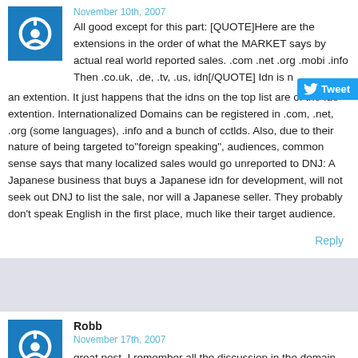November 10th, 2007
All good except for this part: [QUOTE]Here are the extensions in the order of what the MARKET says by actual real world reported sales. .com .net .org .mobi .info Then .co.uk, .de, .tv, .us, idn[/QUOTE] Idn is not an extention. It just happens that the idns on the top list are of the .de extention. Internationalized Domains can be registered in .com, .net, .org (some languages), .info and a bunch of cctlds. Also, due to their nature of being targeted to"foreign speaking", audiences, common sense says that many localized sales would go unreported to DNJ: A Japanese business that buys a Japanese idn for development, will not seek out DNJ to list the sale, nor will a Japanese seller. They probably don't speak English in the first place, much like their target audience.
Reply
Robb
November 17th, 2007
great post, I remember all the discussion in the domain forums about that flowers.mobi sale – rumours of kickbacks, not on the up and up, etc. Nice to see your view on it, even though you didn't have to post anything